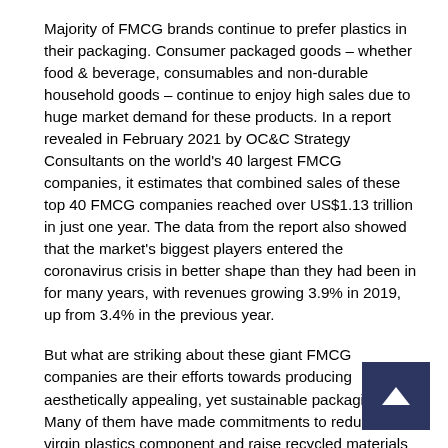Majority of FMCG brands continue to prefer plastics in their packaging. Consumer packaged goods – whether food & beverage, consumables and non-durable household goods – continue to enjoy high sales due to huge market demand for these products. In a report revealed in February 2021 by OC&C Strategy Consultants on the world's 40 largest FMCG companies, it estimates that combined sales of these top 40 FMCG companies reached over US$1.13 trillion in just one year. The data from the report also showed that the market's biggest players entered the coronavirus crisis in better shape than they had been in for many years, with revenues growing 3.9% in 2019, up from 3.4% in the previous year.
But what are striking about these giant FMCG companies are their efforts towards producing aesthetically appealing, yet sustainable packaging. Many of them have made commitments to reduce the virgin plastics component and raise recycled materials content in their production, a task that is very much in line with the circular economy.